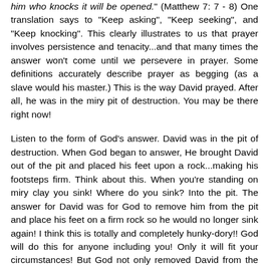him who knocks it will be opened." (Matthew 7: 7 - 8) One translation says to "Keep asking", "Keep seeking", and "Keep knocking". This clearly illustrates to us that prayer involves persistence and tenacity...and that many times the answer won't come until we persevere in prayer. Some definitions accurately describe prayer as begging (as a slave would his master.) This is the way David prayed. After all, he was in the miry pit of destruction. You may be there right now!
Listen to the form of God's answer. David was in the pit of destruction. When God began to answer, He brought David out of the pit and placed his feet upon a rock...making his footsteps firm. Think about this. When you're standing on miry clay you sink! Where do you sink? Into the pit. The answer for David was for God to remove him from the pit and place his feet on a firm rock so he would no longer sink again! I think this is totally and completely hunky-dory!! God will do this for anyone including you! Only it will fit your circumstances! But God not only removed David from the pit and put his feet on a firm rock, he also put a new song in his mouth! A song of praise to God! As a result, many would